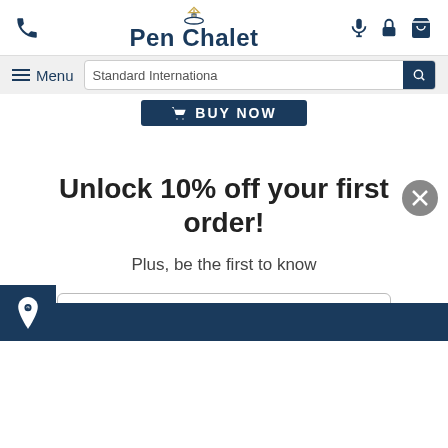Pen Chalet — navigation header with phone icon, logo, microphone, lock, cart icons
[Figure (screenshot): Pen Chalet website header with phone icon on left, Pen Chalet logo in center, microphone/lock/cart icons on right, navigation bar with hamburger menu 'Menu' and search bar 'Standard Internationa', BUY NOW button, close X button, promotional modal: 'Unlock 10% off your first order!', 'Plus, be the first to know', email input field, dark blue submit button area at bottom]
Unlock 10% off your first order!
Plus, be the first to know